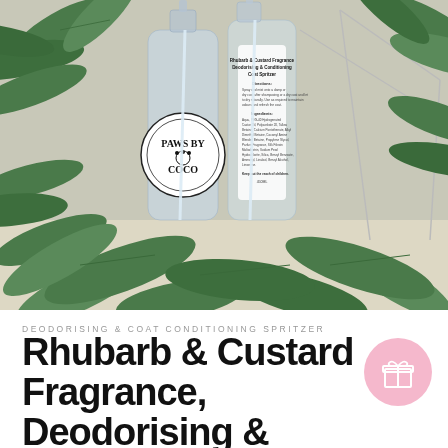[Figure (photo): Two clear spray bottles with white labels — one showing 'Paws By Coco' logo (circular with paw print), the other showing product ingredients text — surrounded by green tropical plant leaves on a light surface with a geometric wire frame in the background.]
DEODORISING & COAT CONDITIONING SPRITZER
Rhubarb & Custard Fragrance, Deodorising &